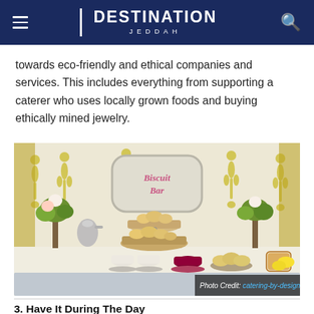DESTINATION JEDDAH
towards eco-friendly and ethical companies and services. This includes everything from supporting a caterer who uses locally grown foods and buying ethically mined jewelry.
[Figure (photo): A biscuit bar catering table display with baked goods on tiered stands, tea cups, flowers, and a decorative 'Biscuit Bar' sign on the wall. Photo Credit: catering-by-design.com]
3. Have It During The Day